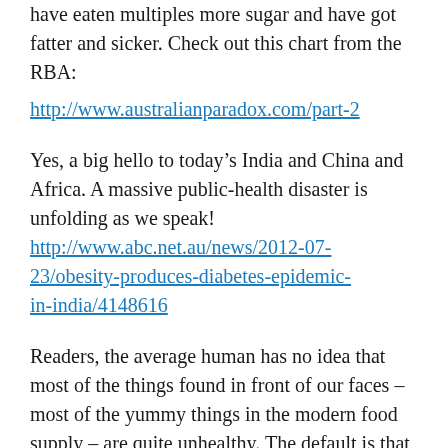have eaten multiples more sugar and have got fatter and sicker. Check out this chart from the RBA:
http://www.australianparadox.com/part-2
Yes, a big hello to today's India and China and Africa. A massive public-health disaster is unfolding as we speak!
http://www.abc.net.au/news/2012-07-23/obesity-produces-diabetes-epidemic-in-india/4148616
Readers, the average human has no idea that most of the things found in front of our faces – most of the yummy things in the modern food supply – are quite unhealthy. The default is that we eat and